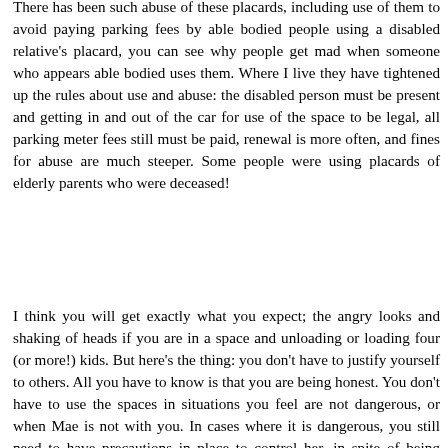There has been such abuse of these placards, including use of them to avoid paying parking fees by able bodied people using a disabled relative's placard, you can see why people get mad when someone who appears able bodied uses them. Where I live they have tightened up the rules about use and abuse: the disabled person must be present and getting in and out of the car for use of the space to be legal, all parking meter fees still must be paid, renewal is more often, and fines for abuse are much steeper. Some people were using placards of elderly parents who were deceased!
I think you will get exactly what you expect; the angry looks and shaking of heads if you are in a space and unloading or loading four (or more!) kids. But here's the thing: you don't have to justify yourself to others. All you have to know is that you are being honest. You don't have to use the spaces in situations you feel are not dangerous, or when Mae is not with you. In cases where it is dangerous, you still need to have precautions in place to control her, in spite of being closer to the building where you're headed. Maybe those precautions will be enough for people to see you have a disabled person with you. Maybe not. As she